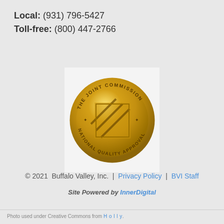Local: (931) 796-5427
Toll-free: (800) 447-2766
[Figure (logo): The Joint Commission National Quality Approval gold seal]
© 2021  Buffalo Valley, Inc.  | Privacy Policy | BVI Staff
Site Powered by InnerDigital
Photo used under Creative Commons from Holly.